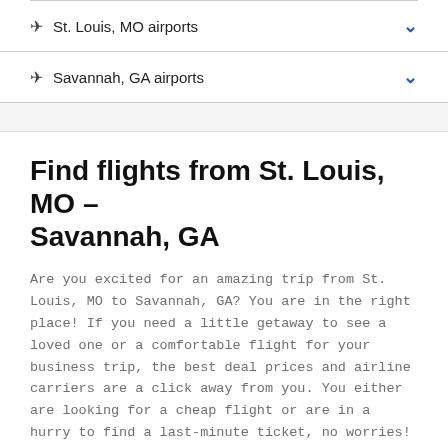St. Louis, MO airports
Savannah, GA airports
Find flights from St. Louis, MO – Savannah, GA
Are you excited for an amazing trip from St. Louis, MO to Savannah, GA? You are in the right place! If you need a little getaway to see a loved one or a comfortable flight for your business trip, the best deal prices and airline carriers are a click away from you. You either are looking for a cheap flight or are in a hurry to find a last-minute ticket, no worries! eDreams will take care of everything you need for a perfect vacation in Savannah, GA. You will get a large selection of airfares from standard and low cost airlines worldwide and easily book your tickets for this route. Don´t forget to book a